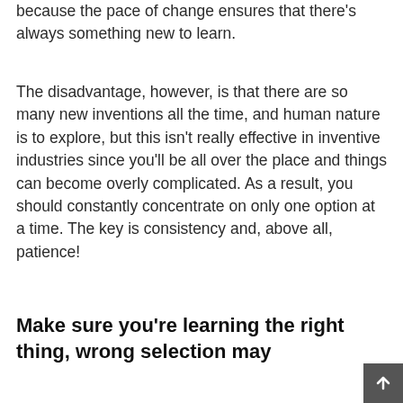because the pace of change ensures that there's always something new to learn.
The disadvantage, however, is that there are so many new inventions all the time, and human nature is to explore, but this isn't really effective in inventive industries since you'll be all over the place and things can become overly complicated. As a result, you should constantly concentrate on only one option at a time. The key is consistency and, above all, patience!
Make sure you're learning the right thing, wrong selection may